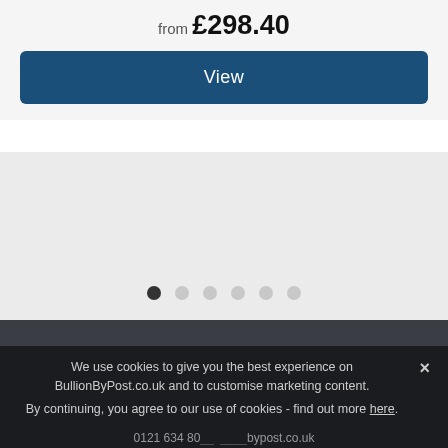from £298.40
View
[Figure (other): Carousel pagination dots — 6 dots with the first one filled/active and the rest grey]
We use cookies to give you the best experience on BullionByPost.co.uk and to customise marketing content. By continuing, you agree to our use of cookies - find out more here.
0121 634 80__  ____bypost.co.uk
Floor 16, Centre City Tower, 7 Hill Street, Birmingham, B5 4UA